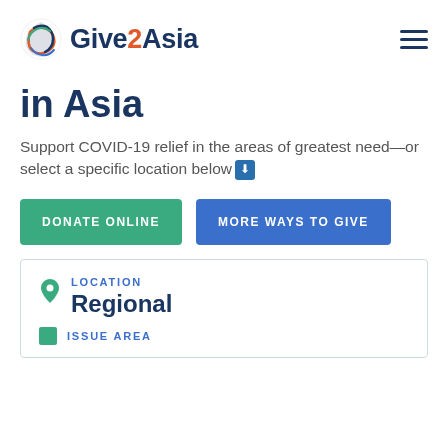Give2Asia
in Asia
Support COVID-19 relief in the areas of greatest need—or select a specific location below
DONATE ONLINE
MORE WAYS TO GIVE
LOCATION
Regional
ISSUE AREA